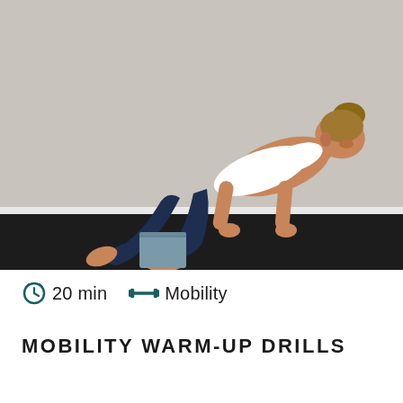[Figure (photo): A woman in a white tank top and dark blue leggings performing a mobility exercise on a black yoga mat. She is on all fours with one leg extended back, using a gray yoga block beside her knee. The background is a light beige/gray wall with white baseboard.]
20 min   Mobility
MOBILITY WARM-UP DRILLS